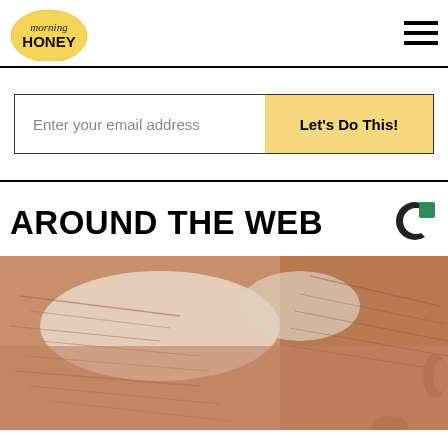[Figure (logo): Morning Honey logo with yellow circular background and text 'morning HONEY']
[Figure (other): Hamburger menu icon with three horizontal lines]
Enter your email address
Let's Do This!
AROUND THE WEB
[Figure (logo): Taboola logo - C-shaped dark circle with green square]
[Figure (photo): Close-up photo of elderly person's skin near ear/temple area]